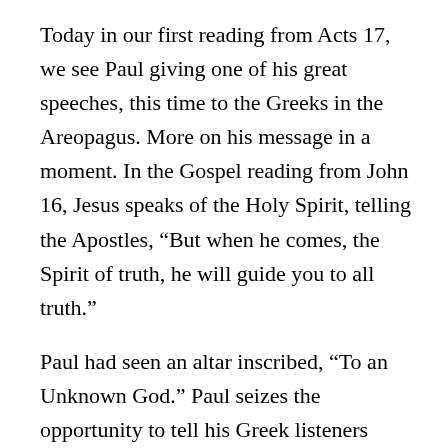Today in our first reading from Acts 17, we see Paul giving one of his great speeches, this time to the Greeks in the Areopagus. More on his message in a moment. In the Gospel reading from John 16, Jesus speaks of the Holy Spirit, telling the Apostles, “But when he comes, the Spirit of truth, he will guide you to all truth.”
Paul had seen an altar inscribed, “To an Unknown God.” Paul seizes the opportunity to tell his Greek listeners about the one true God, who made heaven and earth. He says to them, “so that people might seek God, even perhaps grope for him and find him